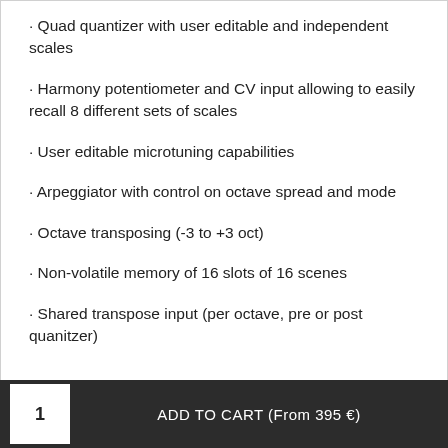· Quad quantizer with user editable and independent scales
· Harmony potentiometer and CV input allowing to easily recall 8 different sets of scales
· User editable microtuning capabilities
· Arpeggiator with control on octave spread and mode
· Octave transposing (-3 to +3 oct)
· Non-volatile memory of 16 slots of 16 scenes
· Shared transpose input (per octave, pre or post quanitzer)
1   ADD TO CART (From 395 €)